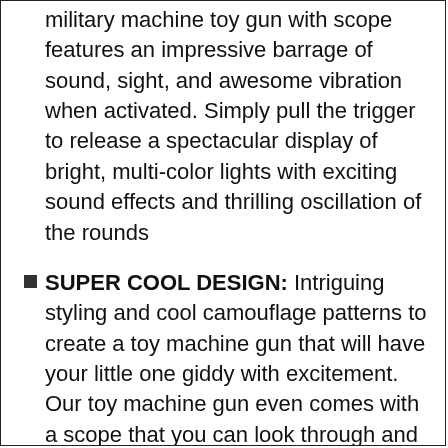military machine toy gun with scope features an impressive barrage of sound, sight, and awesome vibration when activated. Simply pull the trigger to release a spectacular display of bright, multi-color lights with exciting sound effects and thrilling oscillation of the rounds
SUPER COOL DESIGN: Intriguing styling and cool camouflage patterns to create a toy machine gun that will have your little one giddy with excitement. Our toy machine gun even comes with a scope that you can look through and a stand to keep it stable and secure on the ground. It's built ready for some serious action!
RESPONSIBILITY IN DESIGN: We believe in creating toys that keeps your kiddo's safety first in every respect. That's why we've been careful to design this pretend play rifle for